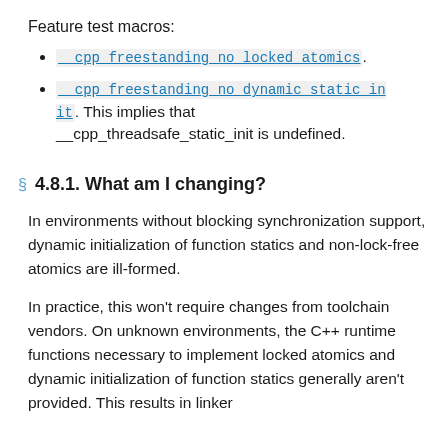Feature test macros:
__cpp_freestanding_no_locked_atomics.
__cpp_freestanding_no_dynamic_static_init. This implies that __cpp_threadsafe_static_init is undefined.
4.8.1. What am I changing?
In environments without blocking synchronization support, dynamic initialization of function statics and non-lock-free atomics are ill-formed.
In practice, this won't require changes from toolchain vendors. On unknown environments, the C++ runtime functions necessary to implement locked atomics and dynamic initialization of function statics generally aren't provided. This results in linker